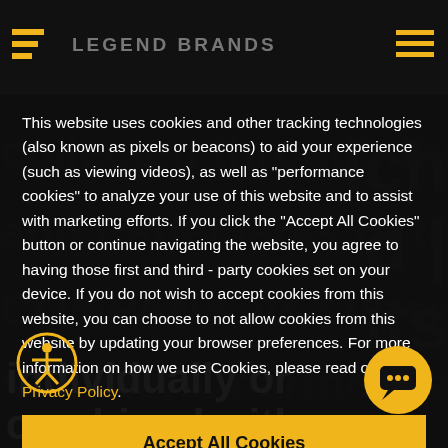LEGEND BRANDS
This website uses cookies and other tracking technologies (also known as pixels or beacons) to aid your experience (such as viewing videos), as well as "performance cookies" to analyze your use of this website and to assist with marketing efforts. If you click the "Accept All Cookies" button or continue navigating the website, you agree to having those first and third - party cookies set on your device. If you do not wish to accept cookies from this website, you can choose to not allow cookies from this website by updating your browser preferences. For more information on how we use Cookies, please read our Privacy Policy.
Accept All Cookies
individually or combined with one